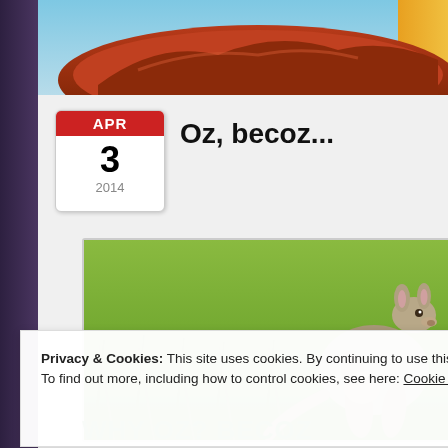[Figure (photo): Top banner photo showing red rock formation (Uluru) under blue sky with warm tones and yellow element at right]
[Figure (other): Calendar widget showing APR 3 2014 with red header]
Oz, becoz...
[Figure (photo): Photo of a kangaroo sitting on green grass, close-up shot]
Privacy & Cookies: This site uses cookies. By continuing to use this website, you agree to their use.
To find out more, including how to control cookies, see here: Cookie Policy
Close and accept
WHY OZ? BECOZ